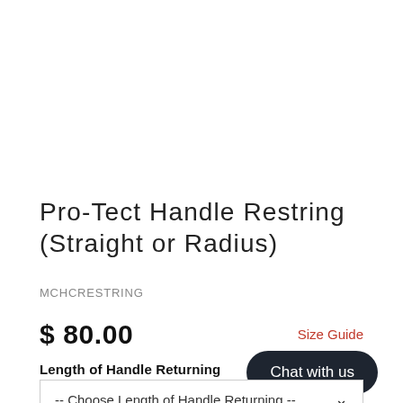Pro-Tect Handle Restring (Straight or Radius)
MCHCRESTRING
$ 80.00
Size Guide
Length of Handle Returning
Chat with us
-- Choose Length of Handle Returning --